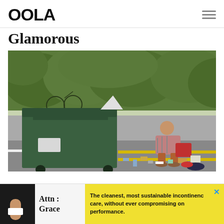OOLA
Glamorous
[Figure (photo): A person crouching beside a large green dumpster on a street, with scattered trash items on the ground. Dense green foliage hedge in background, yellow road markings visible.]
[Figure (infographic): Advertisement bar: image of a person's arm with a bandage, text 'Attn: Grace' in serif font, yellow background with text 'The cleanest, most sustainable incontinence care, without ever compromising on performance.' with a blue X close button.]